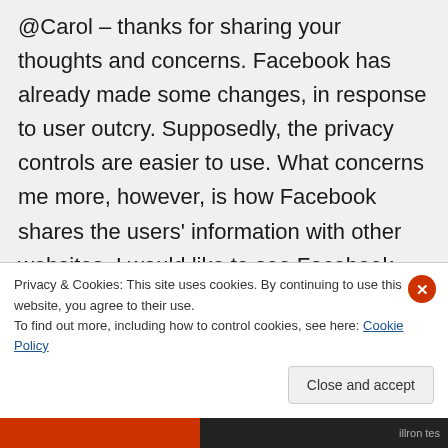@Carol – thanks for sharing your thoughts and concerns. Facebook has already made some changes, in response to user outcry. Supposedly, the privacy controls are easier to use. What concerns me more, however, is how Facebook shares the users' information with other websites. I would like to see Facebook make this optional for users and have the default be to NOT share information. It will be interesting to see how this unfolds.
Privacy & Cookies: This site uses cookies. By continuing to use this website, you agree to their use.
To find out more, including how to control cookies, see here: Cookie Policy
Close and accept